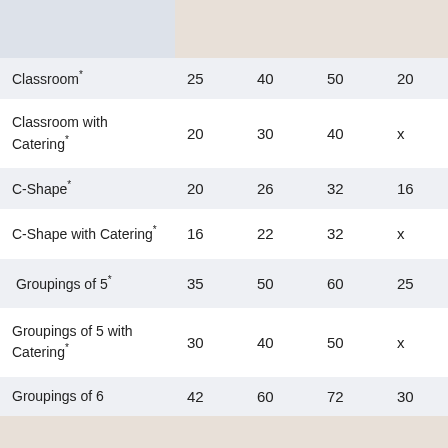|  | Col1 | Col2 | Col3 | Col4 |
| --- | --- | --- | --- | --- |
| Classroom* | 25 | 40 | 50 | 20 |
| Classroom with Catering* | 20 | 30 | 40 | x |
| C-Shape* | 20 | 26 | 32 | 16 |
| C-Shape with Catering* | 16 | 22 | 32 | x |
| Groupings of 5* | 35 | 50 | 60 | 25 |
| Groupings of 5 with Catering* | 30 | 40 | 50 | x |
| Groupings of 6 | 42 | 60 | 72 | 30 |